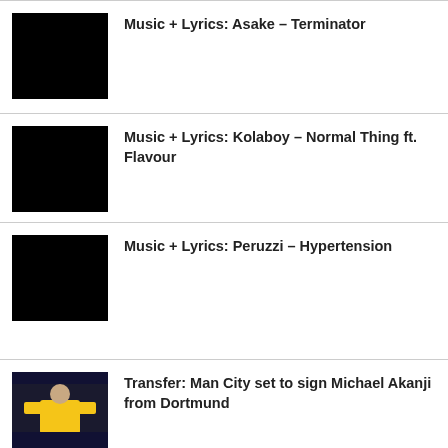Music + Lyrics: Asake – Terminator
Music + Lyrics: Kolaboy – Normal Thing ft. Flavour
Music + Lyrics: Peruzzi – Hypertension
Transfer: Man City set to sign Michael Akanji from Dortmund